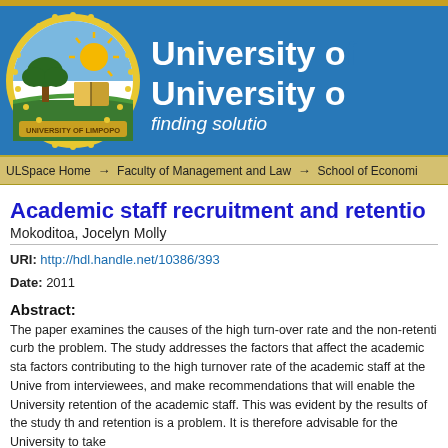[Figure (logo): University of Limpopo crest/seal with sun, tree, and book imagery, circular design with gold border]
University of [Limpopo] — finding solution[s]
ULSpace Home → Faculty of Management and Law → School of Economi[cs]
Academic staff recruitment and retentio[n]
Mokoditoa, Jocelyn Molly
URI: http://hdl.handle.net/10386/393
Date: 2011
Abstract:
The paper examines the causes of the high turn-over rate and the non-retenti[on of academic staff and suggests measures to] curb the problem. The study addresses the factors that affect the academic sta[ff recruitment and identifies the] factors contributing to the high turnover rate of the academic staff at the Unive[rsity. It analyses data gathered] from interviewees, and make recommendations that will enable the University [to improve the recruitment and] retention of the academic staff. This was evident by the results of the study th[at the recruitment] and retention is a problem. It is therefore advisable for the University to take [immediate action.]